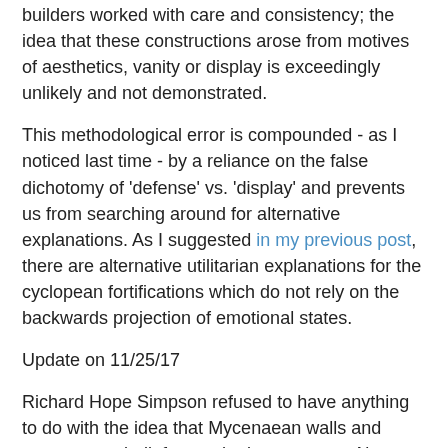builders worked with care and consistency; the idea that these constructions arose from motives of aesthetics, vanity or display is exceedingly unlikely and not demonstrated.
This methodological error is compounded - as I noticed last time - by a reliance on the false dichotomy of 'defense' vs. 'display' and prevents us from searching around for alternative explanations. As I suggested in my previous post, there are alternative utilitarian explanations for the cyclopean fortifications which do not rely on the backwards projection of emotional states.
Update on 11/25/17
Richard Hope Simpson refused to have anything to do with the idea that Mycenaean walls and towers were built for aesthetic purposes. Above all he emphasizes the defensive role that they played and he also pushes back against Bintliff's idea that absence of warfare meant that the walls must have been built for display. 'Defensive measures, in the form of walls or other barriers, do not necessarily imply the absence of peace, nor do they presuppose any warlike disposition. Indeed such static defences often signify the